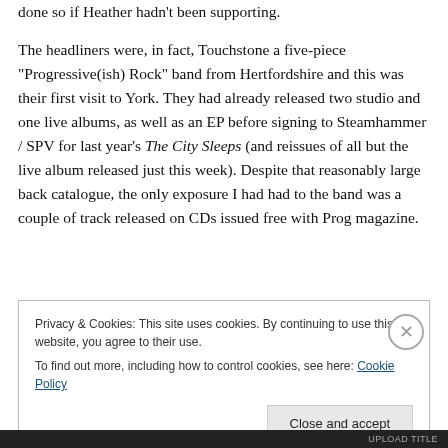done so if Heather hadn't been supporting.

The headliners were, in fact, Touchstone a five-piece “Progressive(ish) Rock” band from Hertfordshire and this was their first visit to York. They had already released two studio and one live albums, as well as an EP before signing to Steamhammer / SPV for last year’s The City Sleeps (and reissues of all but the live album released just this week). Despite that reasonably large back catalogue, the only exposure I had had to the band was a couple of track released on CDs issued free with Prog magazine.
Privacy & Cookies: This site uses cookies. By continuing to use this website, you agree to their use.
To find out more, including how to control cookies, see here: Cookie Policy
Close and accept
UPLOAD TITLE